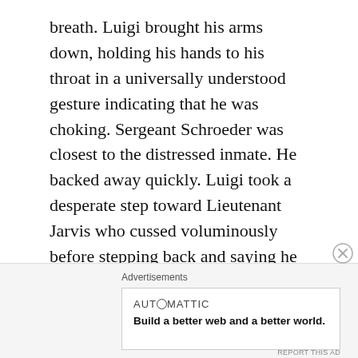breath. Luigi brought his arms down, holding his hands to his throat in a universally understood gesture indicating that he was choking. Sergeant Schroeder was closest to the distressed inmate. He backed away quickly. Luigi took a desperate step toward Lieutenant Jarvis who cussed voluminously before stepping back and saying he wouldn't touch him. The two officers next to Lieutenant Jarvis also retreated as calls of “Help him!” came from a dozen directions. By all appearances those in authority intended to just let Luigi choke to death. None of them even had the
Advertisements
AUT○MATTIC
Build a better web and a better world.